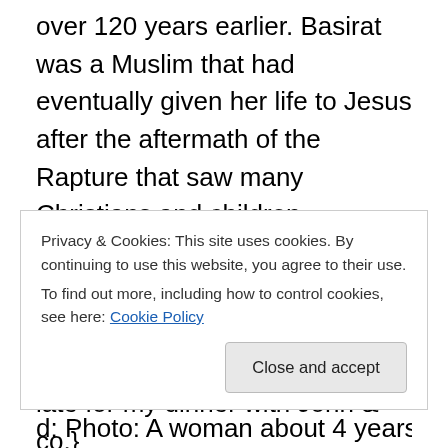over 120 years earlier. Basirat was a Muslim that had eventually given her life to Jesus after the aftermath of the Rapture that saw many Christians and children disappear from the face of the earth. {I smiled and hoped that all these people I was meeting and greeting will not make me late for my dinner with John & co.}
I slowed my walking pace while checking the time on my Sioca wristwatch. Time was 11:41pm and I was supposed to be back at the hotel's dinner hall in about 34 minutes.
"Hone yawa no dey? Abi why my oga dey slow down?
Privacy & Cookies: This site uses cookies. By continuing to use this website, you agree to their use.
To find out more, including how to control cookies, see here: Cookie Policy
Close and accept
d: Photo: A woman about 4 years after, see what a child